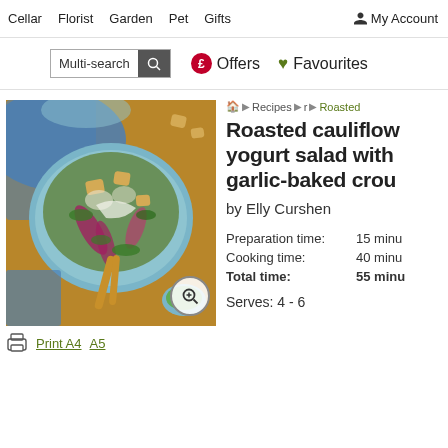Cellar  Florist  Garden  Pet  Gifts  My Account
Multi-search  £ Offers  ♥ Favourites
[Figure (photo): Overhead photo of a roasted cauliflower yogurt salad with garlic-baked croutons in a blue bowl on a wooden surface, with a blue cloth, wooden spoons, and a small bowl of herbs]
Print A4  A5
Home ▶ Recipes ▶ r ▶ Roasted
Roasted cauliflower yogurt salad with garlic-baked croutons
by Elly Curshen
Preparation time:  15 minutes
Cooking time:  40 minutes
Total time:  55 minutes
Serves: 4 - 6